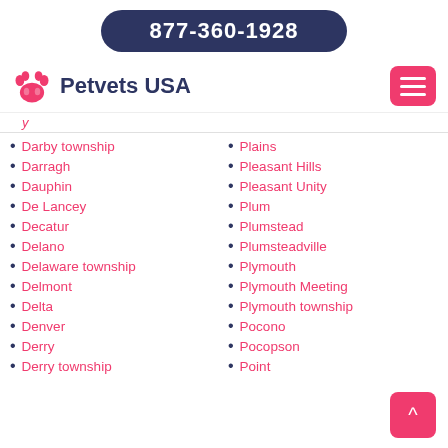877-360-1928
Petvets USA
Darby township
Darragh
Dauphin
De Lancey
Decatur
Delano
Delaware township
Delmont
Delta
Denver
Derry
Derry township
Plains
Pleasant Hills
Pleasant Unity
Plum
Plumstead
Plumsteadville
Plymouth
Plymouth Meeting
Plymouth township
Pocono
Pocopson
Point